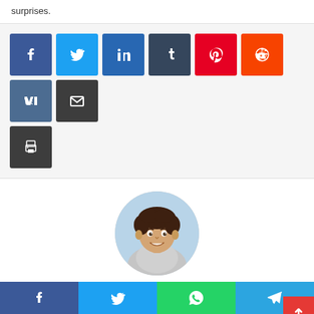surprises.
[Figure (infographic): Row of social share buttons: Facebook (blue), Twitter (light blue), LinkedIn (dark blue), Tumblr (dark navy), Pinterest (red), Reddit (orange-red), VK (steel blue), Email (dark gray), Print (dark gray)]
[Figure (photo): Circular profile photo of a smiling young man with curly dark hair wearing a light gray shirt]
Jonathon
[Figure (infographic): Bottom share bar with Facebook, Twitter, WhatsApp, Telegram buttons]